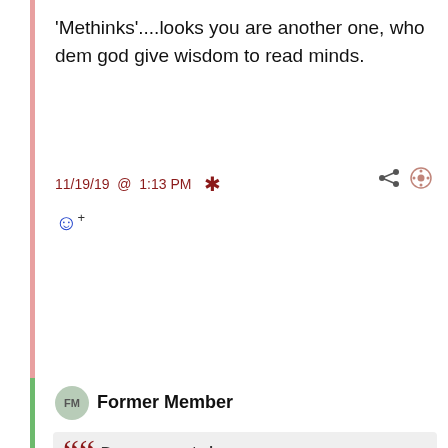'Methinks'....looks you are another one, who dem god give wisdom to read minds.
11/19/19 @ 1:13 PM *
😊+
FM Former Member
Baseman posted:
Sean posted: Ray has allowed himself to be manipulated by posters like Cain and Tola who constantly whine and complain when opposing views are put forward. I will have to purchase some toys now when I show up at GNI. Ray has to man up and allow free speech and stop being manipulated by thin skinned posters